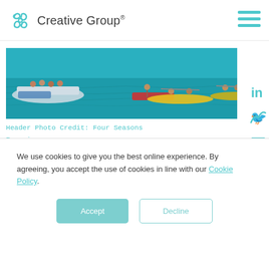Creative Group
[Figure (photo): Aerial view of people kayaking and on floating platforms in turquoise ocean water. Multiple kayaks and colorful floating mats visible.]
Header Photo Credit: Four Seasons Experiences
We use cookies to give you the best online experience. By agreeing, you accept the use of cookies in line with our Cookie Policy.